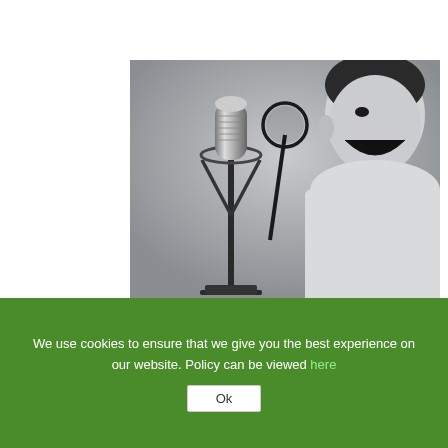[Figure (photo): Black and white photo of a young boy shouting into a professional studio microphone with a pop filter, against a gray background]
How We Deal With Micro-Organisms
fertility, Fertility Treatment, Health Assessment, Men's Fertility | 0 Comments
We use cookies to ensure that we give you the best experience on our website. Policy can be viewed here